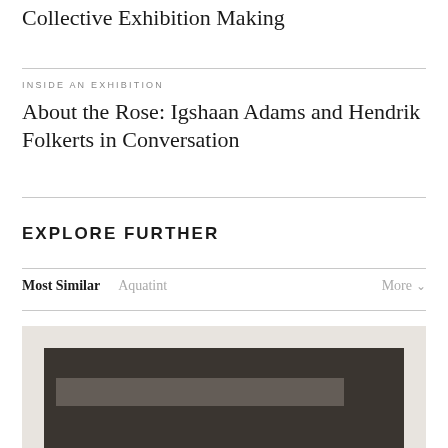Collective Exhibition Making
INSIDE AN EXHIBITION
About the Rose: Igshaan Adams and Hendrik Folkerts in Conversation
EXPLORE FURTHER
Most Similar   Aquatint   More
[Figure (photo): A dark rectangular artwork resembling an aquatint print with dark charcoal tones and a lighter horizontal band across the center, shown on a light beige background.]